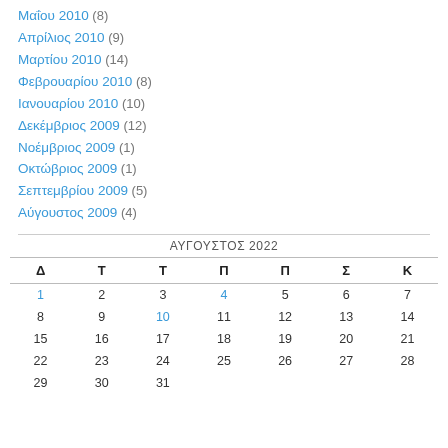Μαΐου 2010 (8)
Απρίλιος 2010 (9)
Μαρτίου 2010 (14)
Φεβρουαρίου 2010 (8)
Ιανουαρίου 2010 (10)
Δεκέμβριος 2009 (12)
Νοέμβριος 2009 (1)
Οκτώβριος 2009 (1)
Σεπτεμβρίου 2009 (5)
Αύγουστος 2009 (4)
| Δ | Τ | Τ | Π | Π | Σ | Κ |
| --- | --- | --- | --- | --- | --- | --- |
| 1 | 2 | 3 | 4 | 5 | 6 | 7 |
| 8 | 9 | 10 | 11 | 12 | 13 | 14 |
| 15 | 16 | 17 | 18 | 19 | 20 | 21 |
| 22 | 23 | 24 | 25 | 26 | 27 | 28 |
| 29 | 30 | 31 |  |  |  |  |